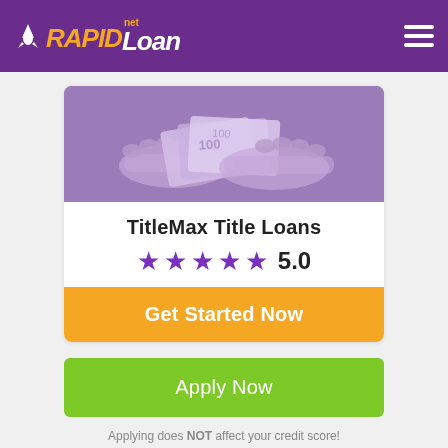RAPIDLoan.net
[Figure (photo): Hands holding paper currency bills, purple-toned photo]
TitleMax Title Loans
★★★★★ 5.0
Get Started Now
Apply Now
Applying does NOT affect your credit score! No credit check to apply.